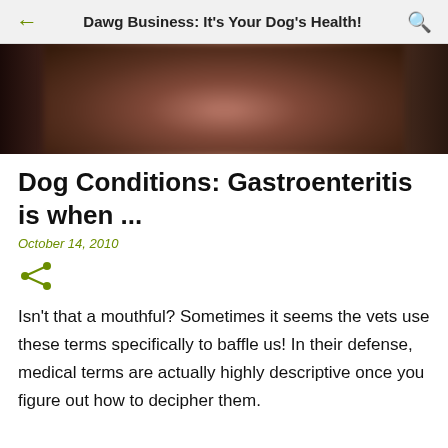Dawg Business: It's Your Dog's Health!
[Figure (photo): Blurred close-up photo of a dog's face/fur, dark brown tones]
Dog Conditions: Gastroenteritis is when ...
October 14, 2010
Isn't that a mouthful? Sometimes it seems the vets use these terms specifically to baffle us! In their defense, medical terms are actually highly descriptive once you figure out how to decipher them.